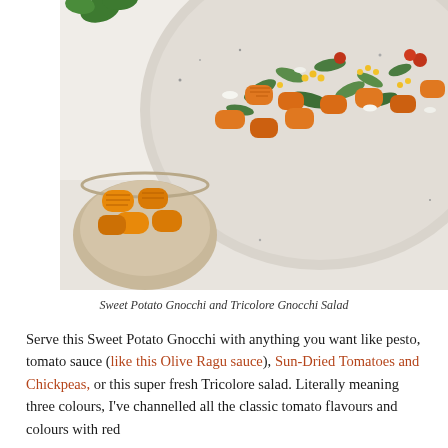[Figure (photo): Overhead food photo showing a large speckled ceramic plate with orange sweet potato gnocchi tossed with green arugula, corn kernels, red tomatoes, and white cheese crumbles. A small bowl of plain orange gnocchi pieces sits in the lower left on a white marble surface.]
Sweet Potato Gnocchi and Tricolore Gnocchi Salad
Serve this Sweet Potato Gnocchi with anything you want like pesto, tomato sauce (like this Olive Ragu sauce), Sun-Dried Tomatoes and Chickpeas, or this super fresh Tricolore salad. Literally meaning three colours, I've channelled all the classic tomato flavours and colours with red tomatoes, fresh corn, and sun-dried black olives...